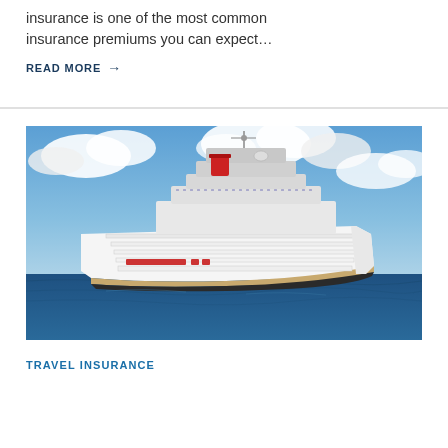insurance is one of the most common insurance premiums you can expect…
READ MORE →
[Figure (photo): A large white cruise ship photographed at sea against a partly cloudy blue sky. The ship has multiple decks with visible lifeboats along its side.]
TRAVEL INSURANCE